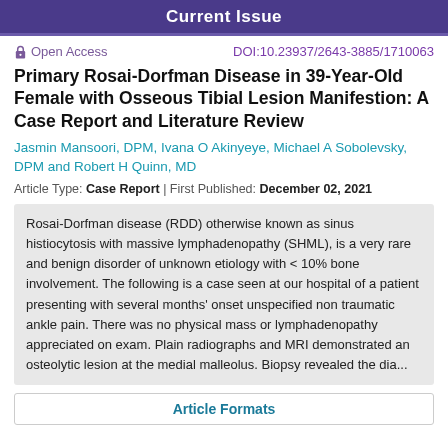Current Issue
Open Access   DOI:10.23937/2643-3885/1710063
Primary Rosai-Dorfman Disease in 39-Year-Old Female with Osseous Tibial Lesion Manifestion: A Case Report and Literature Review
Jasmin Mansoori, DPM, Ivana O Akinyeye, Michael A Sobolevsky, DPM and Robert H Quinn, MD
Article Type: Case Report | First Published: December 02, 2021
Rosai-Dorfman disease (RDD) otherwise known as sinus histiocytosis with massive lymphadenopathy (SHML), is a very rare and benign disorder of unknown etiology with < 10% bone involvement. The following is a case seen at our hospital of a patient presenting with several months' onset unspecified non traumatic ankle pain. There was no physical mass or lymphadenopathy appreciated on exam. Plain radiographs and MRI demonstrated an osteolytic lesion at the medial malleolus. Biopsy revealed the dia...
Article Formats